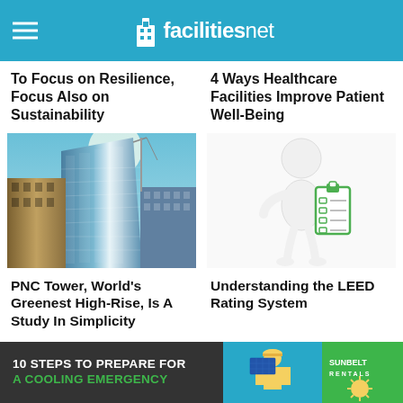facilitiesnet
To Focus on Resilience, Focus Also on Sustainability
4 Ways Healthcare Facilities Improve Patient Well-Being
[Figure (photo): Upward-looking view of a modern glass high-rise building against a blue sky]
[Figure (illustration): 3D cartoon figure holding a green checklist clipboard]
PNC Tower, World's Greenest High-Rise, Is A Study In Simplicity
Understanding the LEED Rating System
10 STEPS TO PREPARE FOR A COOLING EMERGENCY — Sunbelt Rentals advertisement